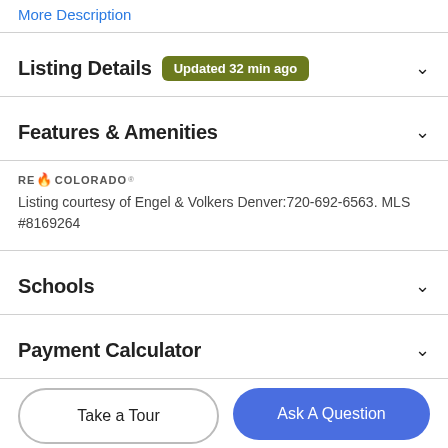More Description
Listing Details  Updated 32 min ago
Features & Amenities
[Figure (logo): REcolorado logo with flame icon]
Listing courtesy of Engel & Volkers Denver:720-692-6563. MLS #8169264
Schools
Payment Calculator
Take a Tour
Ask A Question